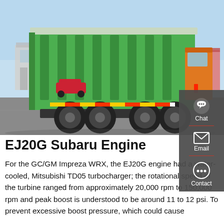[Figure (photo): Green dump truck (rear three-quarter view) parked in a lot with Chinese signage visible in background. Clear sky, industrial setting.]
EJ20G Subaru Engine
For the GC/GM Impreza WRX, the EJ20G engine had a water-cooled, Mitsubishi TD05 turbocharger; the rotational speed of the turbine ranged from approximately 20,000 rpm to 150,000 rpm and peak boost is understood to be around 11 to 12 psi. To prevent excessive boost pressure, which could cause